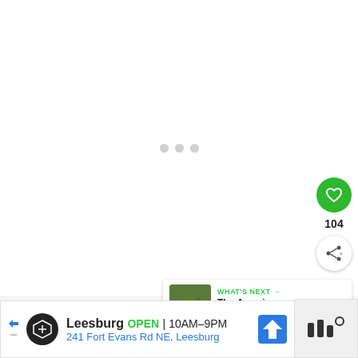[Figure (screenshot): Loading spinner with three gray dots centered on white background]
[Figure (screenshot): Green circular heart/like button showing 104 likes and a white share button below]
[Figure (screenshot): What's Next card with thumbnail of green olives and text 'The Amazing Benefits of...']
[Figure (screenshot): Advertisement banner for Leesburg store: OPEN 10AM-9PM, 241 Fort Evans Rd NE, Leesburg]